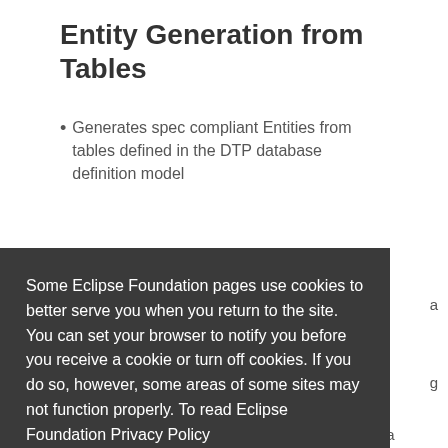Entity Generation from Tables
Generates spec compliant Entities from tables defined in the DTP database definition model
Some Eclipse Foundation pages use cookies to better serve you when you return to the site. You can set your browser to notify you before you receive a cookie or turn off cookies. If you do so, however, some areas of some sites may not function properly. To read Eclipse Foundation Privacy Policy click here.
Decline
Allow cookies
read/write the XML source. On the Java side it is a